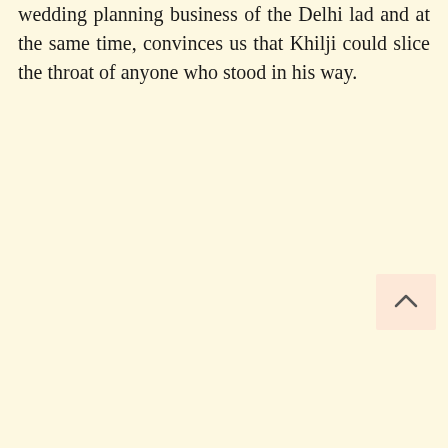wedding planning business of the Delhi lad and at the same time, convinces us that Khilji could slice the throat of anyone who stood in his way.